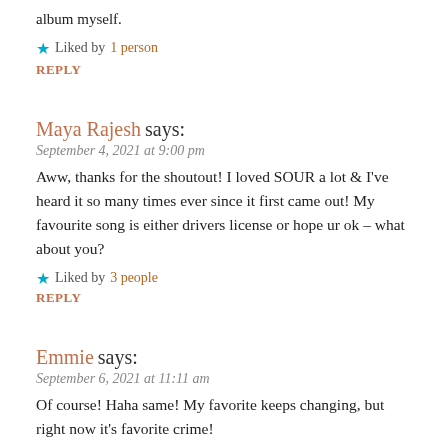album myself.
Liked by 1 person
REPLY
Maya Rajesh says:
September 4, 2021 at 9:00 pm
Aww, thanks for the shoutout! I loved SOUR a lot & I've heard it so many times ever since it first came out! My favourite song is either drivers license or hope ur ok – what about you?
Liked by 3 people
REPLY
Emmie says:
September 6, 2021 at 11:11 am
Of course! Haha same! My favorite keeps changing, but right now it's favorite crime!
Liked by 1 person